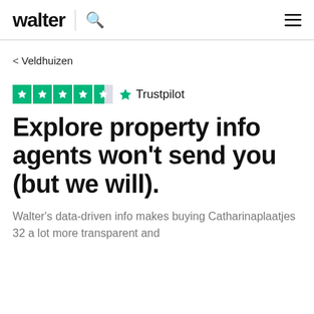walter
‹ Veldhuizen
[Figure (logo): Trustpilot rating: 4.5 stars (green boxes with white stars) followed by a green Trustpilot star icon and the text 'Trustpilot']
Explore property info agents won't send you (but we will).
Walter's data-driven info makes buying Catharinaplaatjes 32 a lot more transparent and